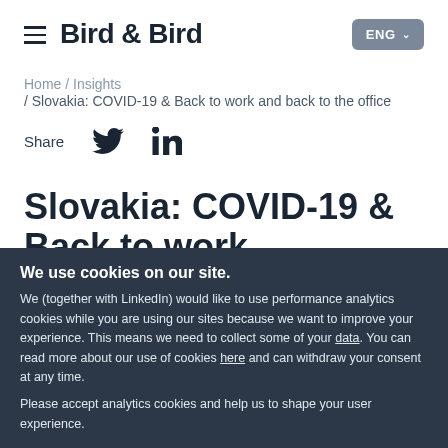Bird & Bird | ENG
Home / Insights / Slovakia: COVID-19 & Back to work and back to the office
Share
Slovakia: COVID-19 & Back to work
We use cookies on our site.
We (together with LinkedIn) would like to use performance analytics cookies while you are using our sites because we want to improve your experience. This means we need to collect some of your data. You can read more about our use of cookies here and can withdraw your consent at any time.
Please accept analytics cookies and help us to shape your user experience.